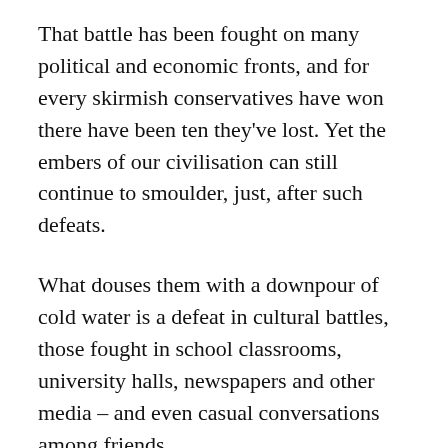That battle has been fought on many political and economic fronts, and for every skirmish conservatives have won there have been ten they've lost. Yet the embers of our civilisation can still continue to smoulder, just, after such defeats.
What douses them with a downpour of cold water is a defeat in cultural battles, those fought in school classrooms, university halls, newspapers and other media – and even casual conversations among friends.
In any pitched clash, the side that chooses the battlefield affording it a dominant high ground has a winning advantage. Exiting the military